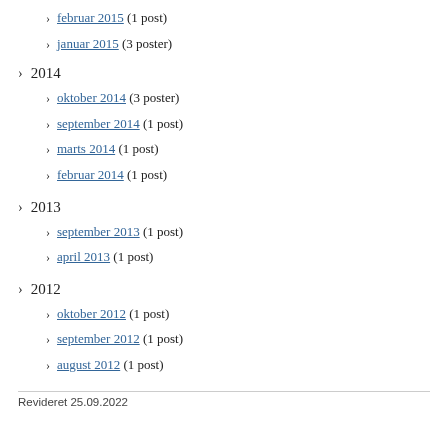februar 2015 (1 post)
januar 2015 (3 poster)
2014
oktober 2014 (3 poster)
september 2014 (1 post)
marts 2014 (1 post)
februar 2014 (1 post)
2013
september 2013 (1 post)
april 2013 (1 post)
2012
oktober 2012 (1 post)
september 2012 (1 post)
august 2012 (1 post)
Revideret 25.09.2022